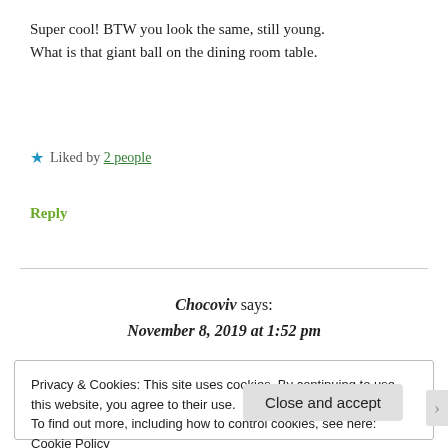Super cool! BTW you look the same, still young. What is that giant ball on the dining room table.
★ Liked by 2 people
Reply
Chocoviv says: November 8, 2019 at 1:52 pm
Privacy & Cookies: This site uses cookies. By continuing to use this website, you agree to their use.
To find out more, including how to control cookies, see here: Cookie Policy
Close and accept